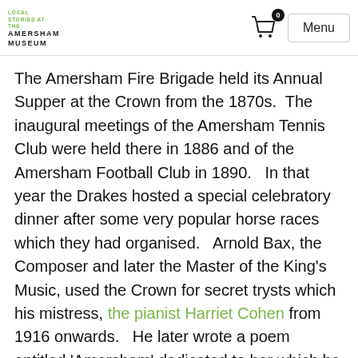LOCAL STORIES AT THE AMERSHAM MUSEUM — Menu
The Amersham Fire Brigade held its Annual Supper at the Crown from the 1870s.  The inaugural meetings of the Amersham Tennis Club were held there in 1886 and of the Amersham Football Club in 1890.   In that year the Drakes hosted a special celebratory dinner after some very popular horse races which they had organised.   Arnold Bax, the Composer and later the Master of the King's Music, used the Crown for secret trysts which his mistress, the pianist Harriet Cohen from 1916 onwards.   He later wrote a poem entitled 'Amersham' dedicated to her which he set to music which described the Crown as 'the inn of dreams .... in the drowsy town'.  In recent times the Crown has